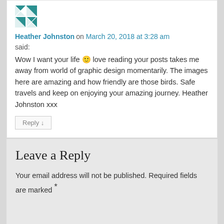[Figure (illustration): Avatar/profile image with teal and white geometric quilt-like pattern]
Heather Johnston on March 20, 2018 at 3:28 am
said:
Wow I want your life 🙂 love reading your posts takes me away from world of graphic design momentarily. The images here are amazing and how friendly are those birds. Safe travels and keep on enjoying your amazing journey. Heather Johnston xxx
Reply ↓
Leave a Reply
Your email address will not be published. Required fields are marked *